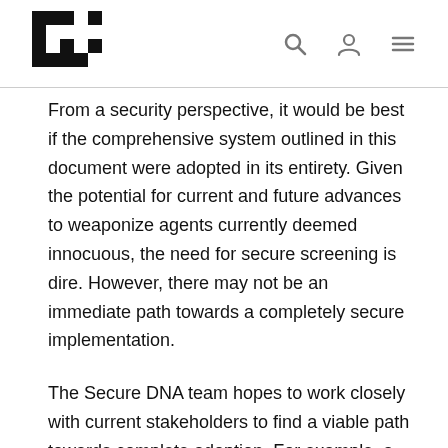[SecureDNA logo] [search icon] [user icon] [menu icon]
From a security perspective, it would be best if the comprehensive system outlined in this document were adopted in its entirety. Given the potential for current and future advances to weaponize agents currently deemed innocuous, the need for secure screening is dire. However, there may not be an immediate path towards a completely secure implementation.
The Secure DNA team hopes to work closely with current stakeholders to find a viable path towards complete adoption. For example, a